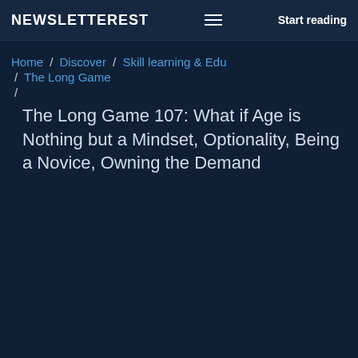NEWSLETTEREST  Start reading
Home / Discover / Skill learning & Edu / The Long Game / The Long Game 107: What if Age is Nothing but a Mindset, Optionality, Being a Novice, Owning the Demand